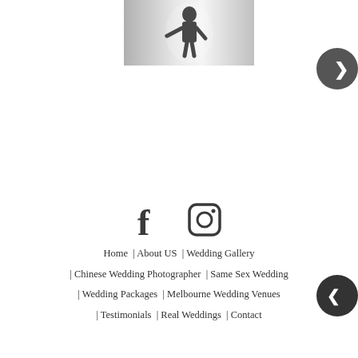[Figure (photo): Black and white photograph of a person silhouette against a bright background]
[Figure (other): Navigation next arrow button (dark circle with chevron right)]
[Figure (other): Social media icons: Facebook (f) and Instagram (camera icon)]
Home | About US | Wedding Gallery | Chinese Wedding Photographer | Same Sex Wedding | Wedding Packages | Melbourne Wedding Venues | Testimonials | Real Weddings | Contact
[Figure (other): Scroll to top button (dark circle with up arrow)]